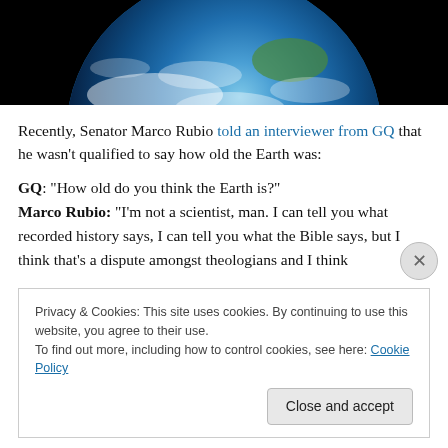[Figure (photo): Photo of Earth from space against a black background, showing blue oceans, white clouds, and some green landmass.]
Recently, Senator Marco Rubio told an interviewer from GQ that he wasn't qualified to say how old the Earth was:
GQ: “How old do you think the Earth is?”
Marco Rubio: “I’m not a scientist, man. I can tell you what recorded history says, I can tell you what the Bible says, but I think that’s a dispute amongst theologians and I think
Privacy & Cookies: This site uses cookies. By continuing to use this website, you agree to their use.
To find out more, including how to control cookies, see here: Cookie Policy